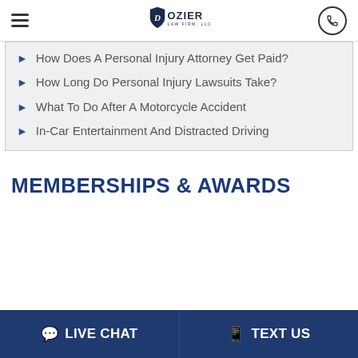Dozier Law Firm, LLC
How Does A Personal Injury Attorney Get Paid?
How Long Do Personal Injury Lawsuits Take?
What To Do After A Motorcycle Accident
In-Car Entertainment And Distracted Driving
MEMBERSHIPS & AWARDS
LIVE CHAT   TEXT US